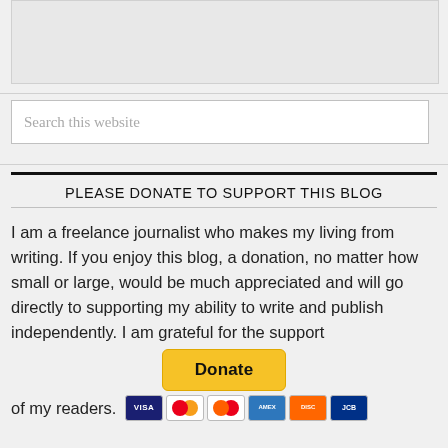[Figure (other): Gray placeholder box at top of page]
Search this website
PLEASE DONATE TO SUPPORT THIS BLOG
I am a freelance journalist who makes my living from writing. If you enjoy this blog, a donation, no matter how small or large, would be much appreciated and will go directly to supporting my ability to write and publish independently. I am grateful for the support of my readers.
[Figure (other): Yellow PayPal Donate button with payment card icons (Visa, Mastercard, Maestro, American Express, Discover, JCB)]